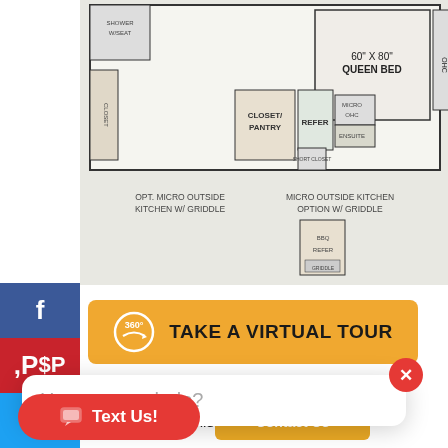[Figure (schematic): RV floorplan schematic showing queen bed (60" x 80"), closet/pantry, refer, OHC, micro, shower/seat, and outdoor kitchen options with griddle. Labels include OPT. MICRO OUTSIDE KITCHEN W/ GRIDDLE and MICRO OUTSIDE KITCHEN OPTION W/ GRIDDLE.]
TAKE A VIRTUAL TOUR
How can we help?
more about Puma 20RBSS
question about this floorplan?
Text Us!
Contact Us